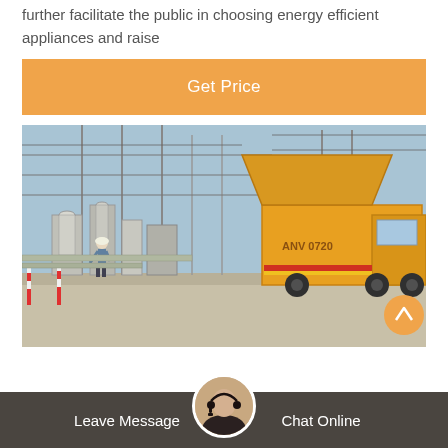further facilitate the public in choosing energy efficient appliances and raise
Get Price
[Figure (photo): Electrical substation with industrial equipment and a yellow utility truck parked nearby. Workers visible on site with power lines and infrastructure in background.]
Leave Message
Chat Online